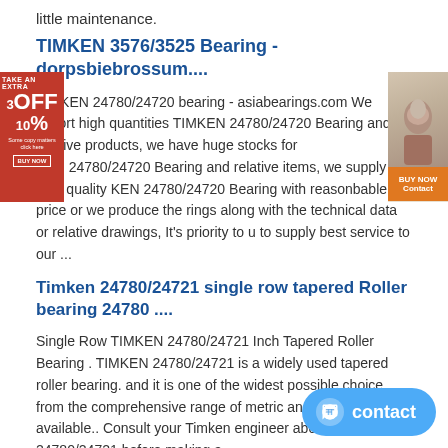little maintenance.
TIMKEN 3576/3525 Bearing - dorpsbiebrossum....
TIMKEN 24780/24720 bearing - asiabearings.com We export high quantities TIMKEN 24780/24720 Bearing and relative products, we have huge stocks for KEN 24780/24720 Bearing and relative items, we supply high quality KEN 24780/24720 Bearing with reasonbable price or we produce the rings along with the technical data or relative drawings, It's priority to u to supply best service to our ...
Timken 24780/24721 single row tapered Roller bearing 24780 ....
Single Row TIMKEN 24780/24721 Inch Tapered Roller Bearing . TIMKEN 24780/24721 is a widely used tapered roller bearing. and it is one of the widest possible choice from the comprehensive range of metric and inch sizes available.. Consult your Timken engineer about TIMKEN 24780/24721 before making a
NACHI NJ419 bearing - bearing NJ419 for sa...
NACHI NJ419 bearing for sale. NACHI NJ419 bearing supplier. Bearing statuso Original NJ419 bearing. Delivery time: 5-7 Days. Inventory Model No.:OKB AXK6085 bearing OKB 294/530E beari bearing NACHI 7000 bearing FAG 23096K.MB bearing NSK 6976 bearing INA